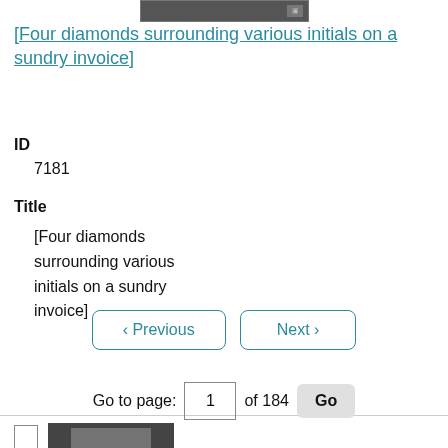[Figure (photo): Thumbnail image of a document or artifact, small dark rectangle at top]
[Four diamonds surrounding various initials on a sundry invoice]
ID
7181
Title
[Four diamonds surrounding various initials on a sundry invoice]
[Figure (photo): Thumbnail image of a second document or artifact, partially visible at bottom]
< Previous   Next >
Go to page: 1 of 184 Go